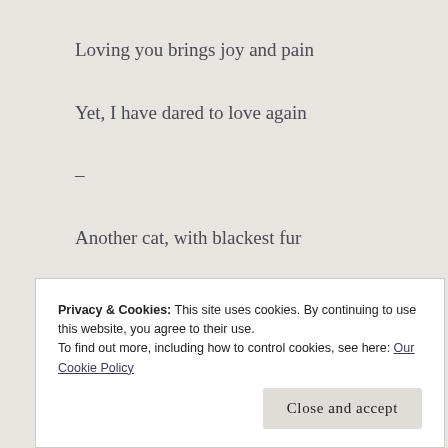Loving you brings joy and pain
Yet, I have dared to love again
–
Another cat, with blackest fur
And a warm resounding purr.
Privacy & Cookies: This site uses cookies. By continuing to use this website, you agree to their use.
To find out more, including how to control cookies, see here: Our Cookie Policy
Close and accept